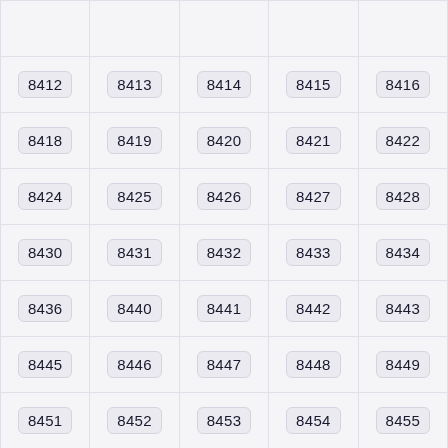|  |  |  |  |  |
| 8412 | 8413 | 8414 | 8415 | 8416 |
| 8418 | 8419 | 8420 | 8421 | 8422 |
| 8424 | 8425 | 8426 | 8427 | 8428 |
| 8430 | 8431 | 8432 | 8433 | 8434 |
| 8436 | 8440 | 8441 | 8442 | 8443 |
| 8445 | 8446 | 8447 | 8448 | 8449 |
| 8451 | 8452 | 8453 | 8454 | 8455 |